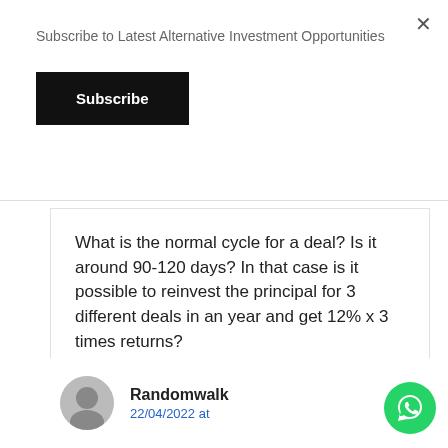Subscribe to Latest Alternative Investment Opportunities
Subscribe
What is the normal cycle for a deal? Is it around 90-120 days? In that case is it possible to reinvest the principal for 3 different deals in an year and get 12% x 3 times returns?
Reply
Randomwalk
22/04/2022 at